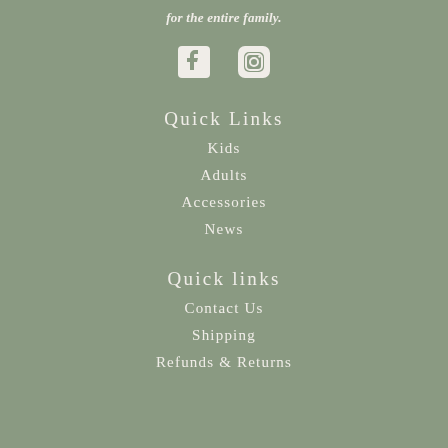for the entire family.
[Figure (logo): Facebook and Instagram social media icons in white]
Quick Links
Kids
Adults
Accessories
News
Quick links
Contact Us
Shipping
Refunds & Returns